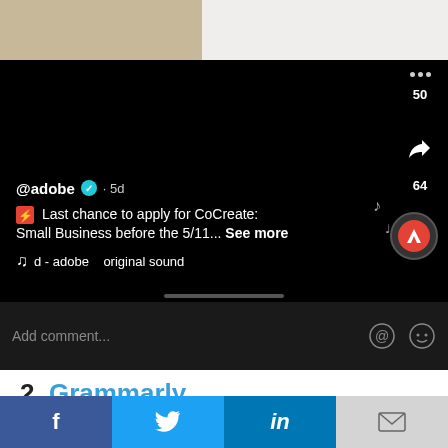[Figure (screenshot): TikTok app screenshot showing @adobe post with text 'Last chance to apply for CoCreate: Small Business before the 5/11... See more', music line 'd - adobe original sound', 50 likes, 64 shares, and comment bar with 'Add comment...' placeholder. Below the screenshot is a section header '2. Grammarly' and text 'This popular text editing software pokes fun at'. At the bottom are social sharing buttons for Facebook, Twitter, LinkedIn, and email.]